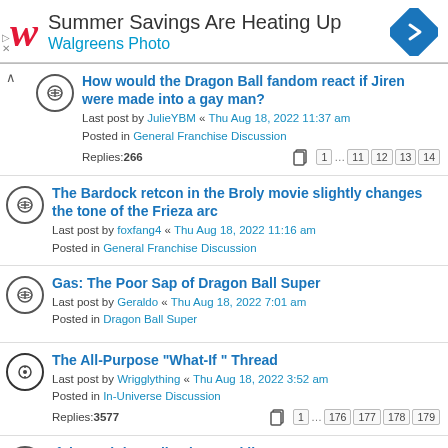[Figure (screenshot): Walgreens Photo advertisement banner with logo, text 'Summer Savings Are Heating Up / Walgreens Photo', and a blue diamond navigation icon]
How would the Dragon Ball fandom react if Jiren were made into a gay man? Last post by JulieYBM « Thu Aug 18, 2022 11:37 am Posted in General Franchise Discussion Replies: 266
The Bardock retcon in the Broly movie slightly changes the tone of the Frieza arc Last post by foxfang4 « Thu Aug 18, 2022 11:16 am Posted in General Franchise Discussion
Gas: The Poor Sap of Dragon Ball Super Last post by Geraldo « Thu Aug 18, 2022 7:01 am Posted in Dragon Ball Super
The All-Purpose "What-If " Thread Last post by Wrigglything « Thu Aug 18, 2022 3:52 am Posted in In-Universe Discussion Replies: 3577
If the Z Fighters lived normal lives Last post by dva_raza « Thu Aug 18, 2022 1:10 am